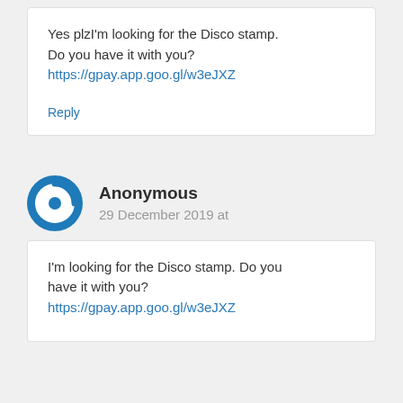Yes plzI'm looking for the Disco stamp. Do you have it with you? https://gpay.app.goo.gl/w3eJXZ
Reply
Anonymous
29 December 2019 at
I'm looking for the Disco stamp. Do you have it with you? https://gpay.app.goo.gl/w3eJXZ